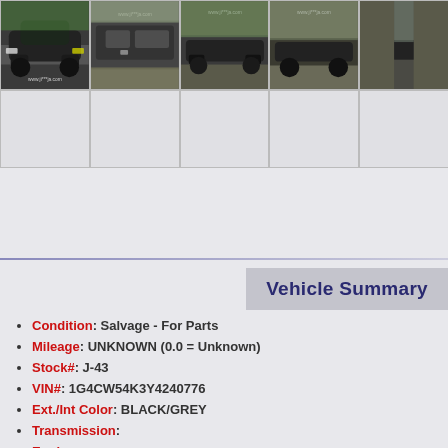[Figure (photo): Top row of vehicle photos showing a black car from various angles (4 visible cells, 5th partially cut off). Bottom row shows empty/blank photo cells.]
Vehicle Summary
Condition: Salvage - For Parts
Mileage: UNKNOWN (0.0 = Unknown)
Stock#: J-43
VIN#: 1G4CW54K3Y4240776
Ext./Int Color: BLACK/GREY
Transmission:
Engine: